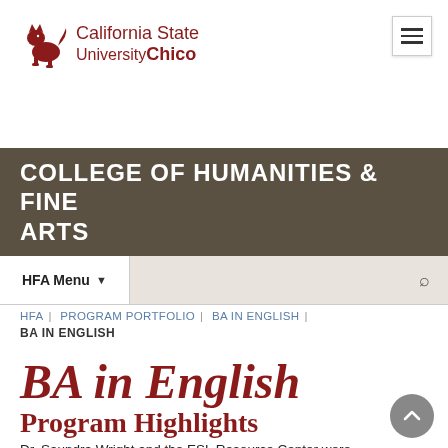[Figure (logo): California State University Chico logo with wildcat mascot and red text]
COLLEGE OF HUMANITIES & FINE ARTS
HFA Menu
HFA | PROGRAM PORTFOLIO | BA IN ENGLISH | BA IN ENGLISH
BA in English
Program Highlights
Dr. Saundra Wright and the ESL Resource Center were